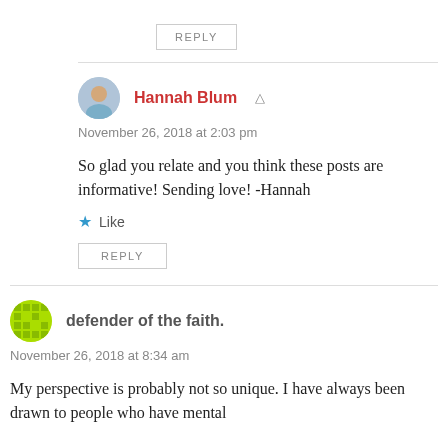REPLY
Hannah Blum
November 26, 2018 at 2:03 pm
So glad you relate and you think these posts are informative! Sending love! -Hannah
Like
REPLY
defender of the faith.
November 26, 2018 at 8:34 am
My perspective is probably not so unique. I have always been drawn to people who have mental